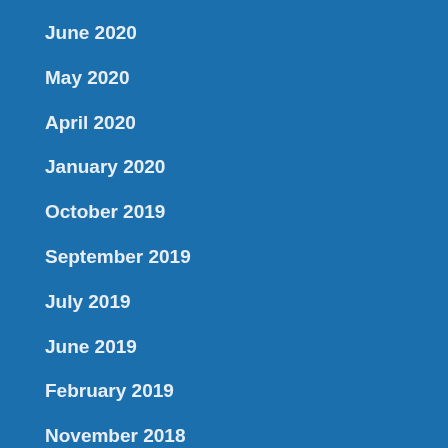June 2020
May 2020
April 2020
January 2020
October 2019
September 2019
July 2019
June 2019
February 2019
November 2018